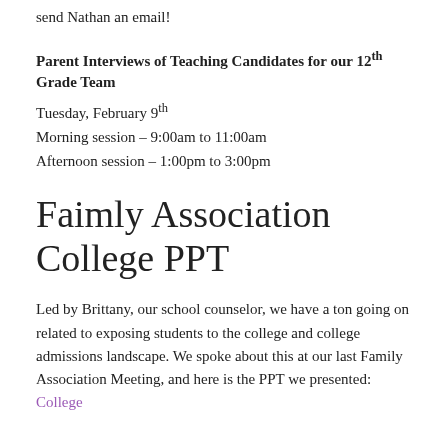send Nathan an email!
Parent Interviews of Teaching Candidates for our 12th Grade Team
Tuesday, February 9th
Morning session – 9:00am to 11:00am
Afternoon session – 1:00pm to 3:00pm
Faimly Association College PPT
Led by Brittany, our school counselor, we have a ton going on related to exposing students to the college and college admissions landscape. We spoke about this at our last Family Association Meeting, and here is the PPT we presented:  College